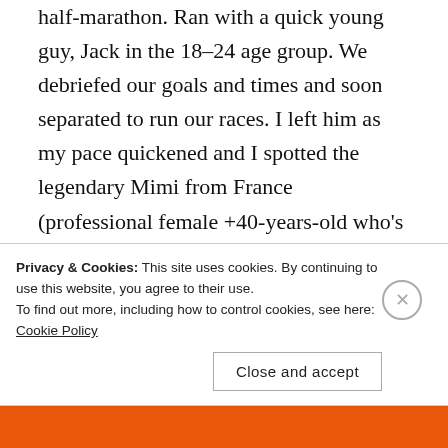half-marathon. Ran with a quick young guy, Jack in the 18-24 age group. We debriefed our goals and times and soon separated to run our races. I left him as my pace quickened and I spotted the legendary Mimi from France (professional female +40-years-old who's placed in the top 10 in more than 10 races this year). After it heated up more and the interesting parts of the course were over and done with, I caught her as we ran at a 6:30
Privacy & Cookies: This site uses cookies. By continuing to use this website, you agree to their use.
To find out more, including how to control cookies, see here: Cookie Policy
Close and accept